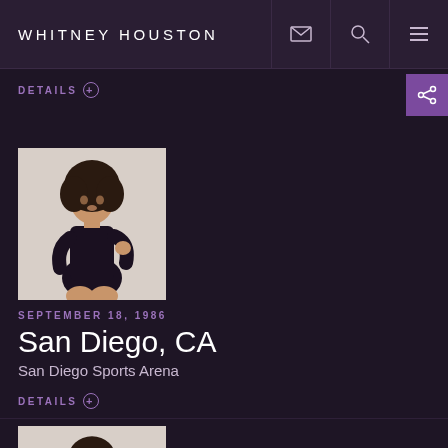WHITNEY HOUSTON
DETAILS +
[Figure (photo): Portrait photo of Whitney Houston in a black turtleneck outfit against white background]
SEPTEMBER 18, 1986
San Diego, CA
San Diego Sports Arena
DETAILS +
[Figure (photo): Portrait photo of Whitney Houston in a black turtleneck outfit against white background]
SEPTEMBER 16, 1986